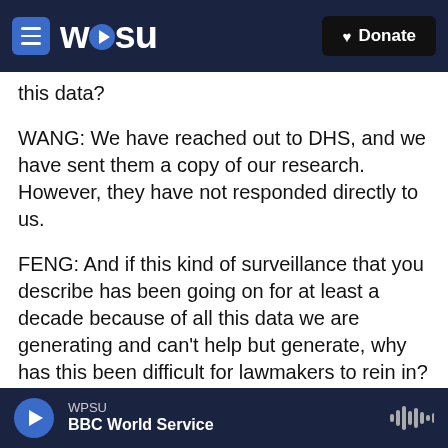WPSU | Donate
this data?
WANG: We have reached out to DHS, and we have sent them a copy of our research. However, they have not responded directly to us.
FENG: And if this kind of surveillance that you describe has been going on for at least a decade because of all this data we are generating and can't help but generate, why has this been difficult for lawmakers to rein in?
WANG: Well, I would say that ICE surveillance is so secretive that many lawmakers simply have no
WPSU | BBC World Service